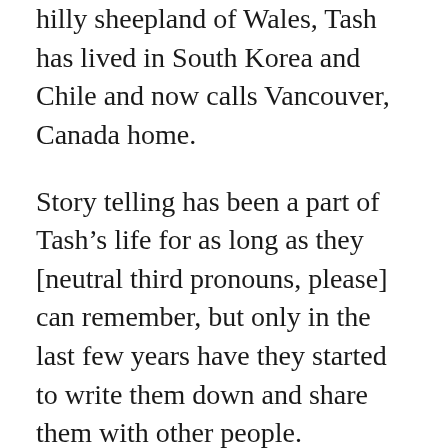hilly sheepland of Wales, Tash has lived in South Korea and Chile and now calls Vancouver, Canada home.
Story telling has been a part of Tash's life for as long as they [neutral third pronouns, please] can remember, but only in the last few years have they started to write them down and share them with other people.
Although the journey definitely hasn't been smooth, Tash has dozens of universes, hundreds of characters, and the